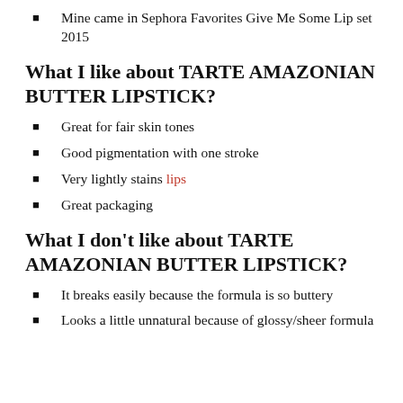Mine came in Sephora Favorites Give Me Some Lip set 2015
What I like about TARTE AMAZONIAN BUTTER LIPSTICK?
Great for fair skin tones
Good pigmentation with one stroke
Very lightly stains lips
Great packaging
What I don't like about TARTE AMAZONIAN BUTTER LIPSTICK?
It breaks easily because the formula is so buttery
Looks a little unnatural because of glossy/sheer formula